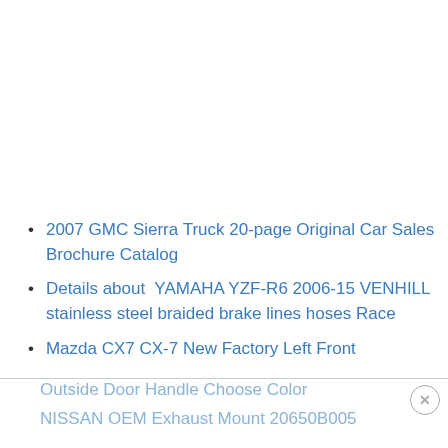2007 GMC Sierra Truck 20-page Original Car Sales Brochure Catalog
Details about  YAMAHA YZF-R6 2006-15 VENHILL stainless steel braided brake lines hoses Race
Mazda CX7 CX-7 New Factory Left Front Outside Door Handle Choose Color
NISSAN OEM Exhaust Mount 20650B005...